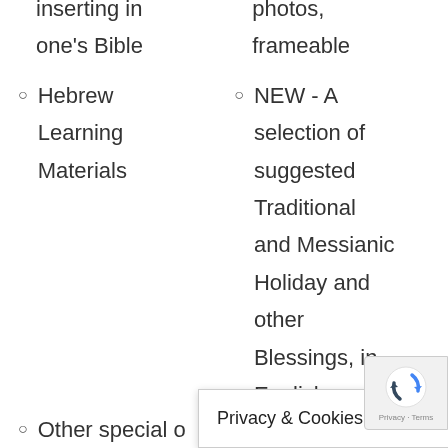inserting in one's Bible
photos, frameable
Hebrew Learning Materials
NEW - A selection of suggested Traditional and Messianic Holiday and other Blessings, in English and
Other special o…
Privacy & Cookies Policy